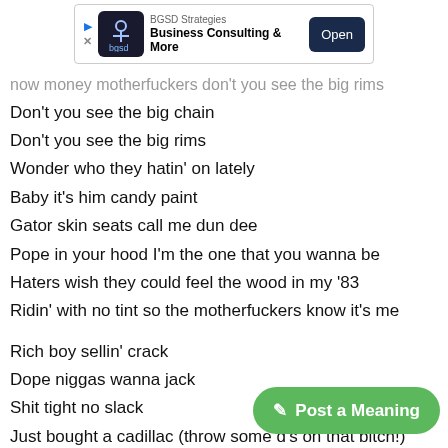[Figure (screenshot): BGSD Strategies Business Consulting & More advertisement banner with Open button]
now money motherfuckers don't you see the big rims
Don't you see the big chain
Don't you see the big rims
Wonder who they hatin' on lately
Baby it's him candy paint
Gator skin seats call me dun dee
Pope in your hood I'm the one that you wanna be
Haters wish they could feel the wood in my '83
Ridin' with no tint so the motherfuckers know it's me
Rich boy sellin' crack
Dope niggas wanna jack
Shit tight no slack
Just bought a cadillac (throw some d's on that bitch!)
Just bought a cadillac (throw some d's on that bitch!)
Just bought a cadillac